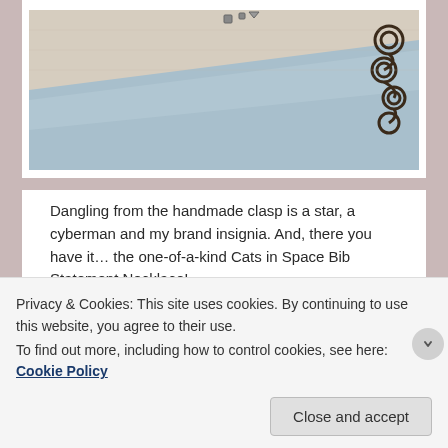[Figure (photo): Close-up photo of a handmade jewelry clasp with beige fabric and blue background, decorative metalwork visible on the right edge]
Dangling from the handmade clasp is a star, a cyberman and my brand insignia. And, there you have it… the one-of-a-kind Cats in Space Bib Statement Necklace!
Thank you, D.Ann, for letting me take over your blog for this post! And thank you, sweet visitors, for your kind attention. I invite you to come visit my current website (wireandwings.com) and feel free to stop by my Etsy store. You can get to either by clicking on any of the
Privacy & Cookies: This site uses cookies. By continuing to use this website, you agree to their use.
To find out more, including how to control cookies, see here: Cookie Policy